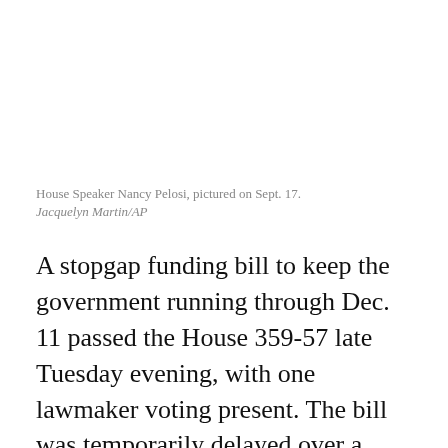[Figure (photo): Photo of House Speaker Nancy Pelosi, pictured on Sept. 17. Photo credit: Jacquelyn Martin/AP]
House Speaker Nancy Pelosi, pictured on Sept. 17.
Jacquelyn Martin/AP
A stopgap funding bill to keep the government running through Dec. 11 passed the House 359-57 late Tuesday evening, with one lawmaker voting present. The bill was temporarily delayed over a heated dispute regarding farm aid.
The legislation still must be approved by the Senate and